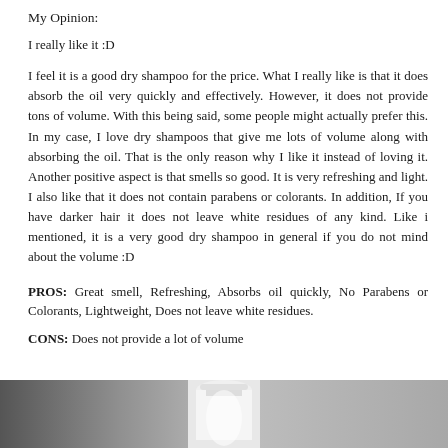My Opinion:
I really like it :D
I feel it is a good dry shampoo for the price. What I really like is that it does absorb the oil very quickly and effectively. However, it does not provide tons of volume. With this being said, some people might actually prefer this. In my case, I love dry shampoos that give me lots of volume along with absorbing the oil. That is the only reason why I like it instead of loving it. Another positive aspect is that smells so good. It is very refreshing and light. I also like that it does not contain parabens or colorants. In addition, If you have darker hair it does not leave white residues of any kind. Like i mentioned, it is a very good dry shampoo in general if you do not mind about the volume :D
PROS: Great smell, Refreshing, Absorbs oil quickly, No Parabens or Colorants, Lightweight, Does not leave white residues.
CONS: Does not provide a lot of volume
[Figure (photo): Bottom strip showing a photo of a dry shampoo bottle/can against a grey background]